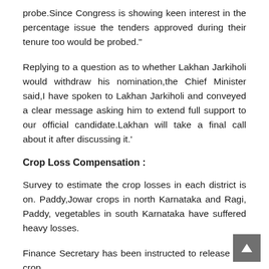probe.Since Congress is showing keen interest in the percentage issue the tenders approved during their tenure too would be probed."
Replying to a question as to whether Lakhan Jarkiholi would withdraw his nomination,the Chief Minister said,I have spoken to Lakhan Jarkiholi and conveyed a clear message asking him to extend full support to our official candidate.Lakhan will take a final call about it after discussing it.'
Crop Loss Compensation :
Survey to estimate the crop losses in each district is on. Paddy,Jowar crops in north Karnataka and Ragi, Paddy, vegetables in south Karnataka have suffered heavy losses.
Finance Secretary has been instructed to release the crop